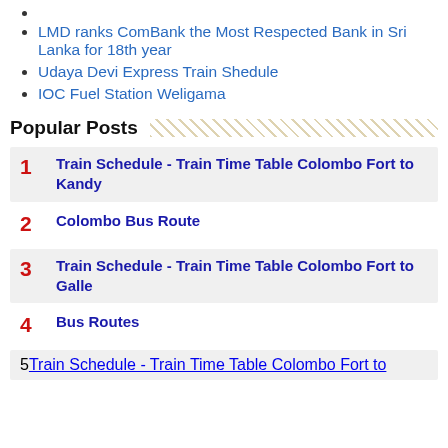LMD ranks ComBank the Most Respected Bank in Sri Lanka for 18th year
Udaya Devi Express Train Shedule
IOC Fuel Station Weligama
Popular Posts
1 Train Schedule - Train Time Table Colombo Fort to Kandy
2 Colombo Bus Route
3 Train Schedule - Train Time Table Colombo Fort to Galle
4 Bus Routes
5 Train Schedule - Train Time Table Colombo Fort to